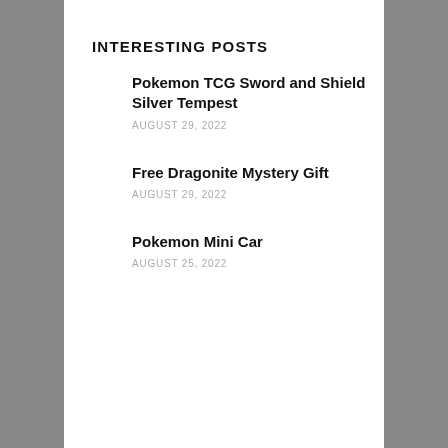INTERESTING POSTS
Pokemon TCG Sword and Shield Silver Tempest
AUGUST 29, 2022
Free Dragonite Mystery Gift
AUGUST 29, 2022
Pokemon Mini Car
AUGUST 25, 2022